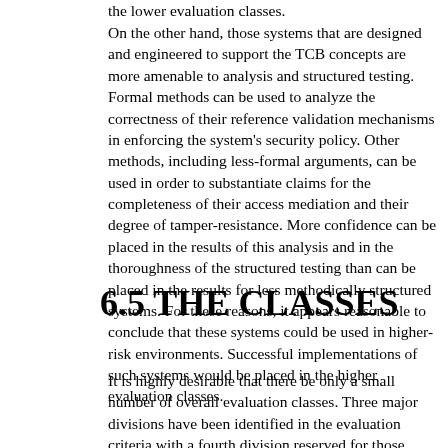the lower evaluation classes.
On the other hand, those systems that are designed and engineered to support the TCB concepts are more amenable to analysis and structured testing. Formal methods can be used to analyze the correctness of their reference validation mechanisms in enforcing the system's security policy. Other methods, including less-formal arguments, can be used in order to substantiate claims for the completeness of their access mediation and their degree of tamper-resistance. More confidence can be placed in the results of this analysis and in the thoroughness of the structured testing than can be placed in the results for less methodically structured systems. For these reasons, it appears reasonable to conclude that these systems could be used in higher-risk environments. Successful implementations of such systems would be placed in the higher evaluation classes.
6.5 THE CLASSES
It is highly desirable that there be only a small number of overall evaluation classes. Three major divisions have been identified in the evaluation criteria with a fourth division reserved for those systems that have been evaluated and